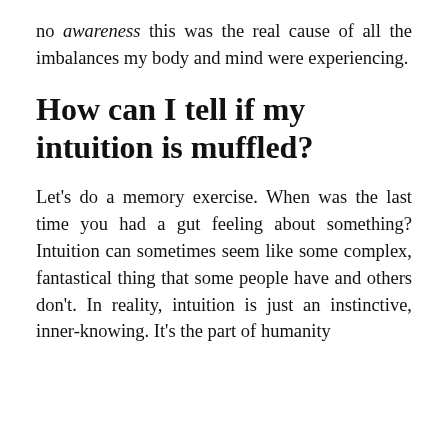no awareness this was the real cause of all the imbalances my body and mind were experiencing.
How can I tell if my intuition is muffled?
Let's do a memory exercise. When was the last time you had a gut feeling about something? Intuition can sometimes seem like some complex, fantastical thing that some people have and others don't. In reality, intuition is just an instinctive, inner-knowing. It's the part of humanity